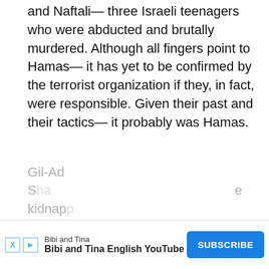and Naftali— three Israeli teenagers who were abducted and brutally murdered. Although all fingers point to Hamas— it has yet to be confirmed by the terrorist organization if they, in fact, were responsible. Given their past and their tactics— it probably was Hamas.
Gil-Ad S... kidnap...
[Figure (other): Advertisement bar for 'Bibi and Tina' YouTube channel with a SUBSCRIBE button]